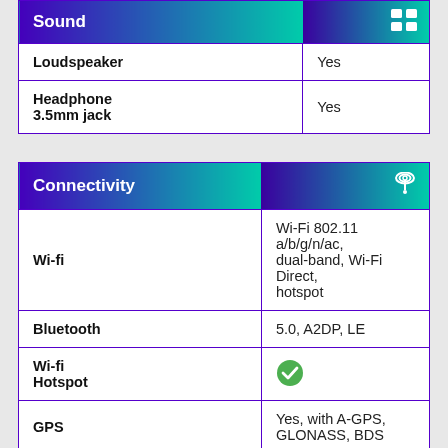| Feature | Value |
| --- | --- |
| Loudspeaker | Yes |
| Headphone 3.5mm jack | Yes |
| Feature | Value |
| --- | --- |
| Wi-fi | Wi-Fi 802.11 a/b/g/n/ac, dual-band, Wi-Fi Direct, hotspot |
| Bluetooth | 5.0, A2DP, LE |
| Wi-fi Hotspot | ✓ |
| GPS | Yes, with A-GPS, GLONASS, BDS |
|  | microUSB 2.0, USB On- |